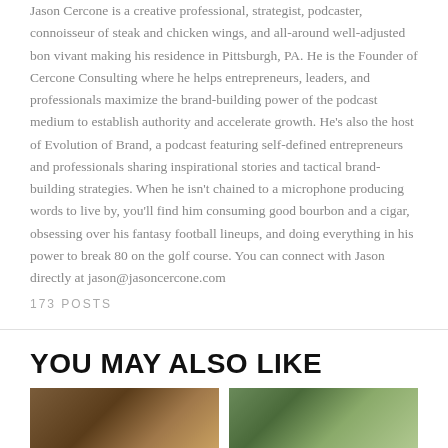Jason Cercone is a creative professional, strategist, podcaster, connoisseur of steak and chicken wings, and all-around well-adjusted bon vivant making his residence in Pittsburgh, PA. He is the Founder of Cercone Consulting where he helps entrepreneurs, leaders, and professionals maximize the brand-building power of the podcast medium to establish authority and accelerate growth. He's also the host of Evolution of Brand, a podcast featuring self-defined entrepreneurs and professionals sharing inspirational stories and tactical brand-building strategies. When he isn't chained to a microphone producing words to live by, you'll find him consuming good bourbon and a cigar, obsessing over his fantasy football lineups, and doing everything in his power to break 80 on the golf course. You can connect with Jason directly at jason@jasoncercone.com
173 POSTS
YOU MAY ALSO LIKE
[Figure (photo): Thumbnail image on the left, partial view at bottom of page]
[Figure (photo): Thumbnail image on the right, partial view at bottom of page]